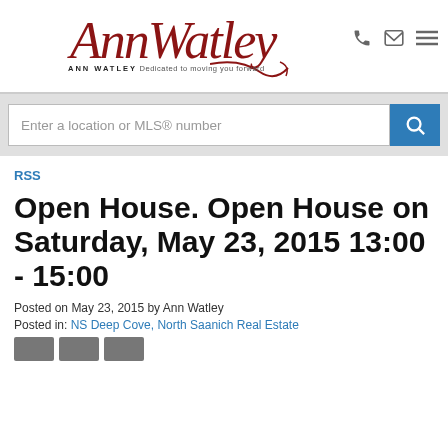Ann Watley — ANN WATLEY Dedicated to moving you forward
Enter a location or MLS® number
RSS
Open House. Open House on Saturday, May 23, 2015 13:00 - 15:00
Posted on May 23, 2015 by Ann Watley
Posted in: NS Deep Cove, North Saanich Real Estate